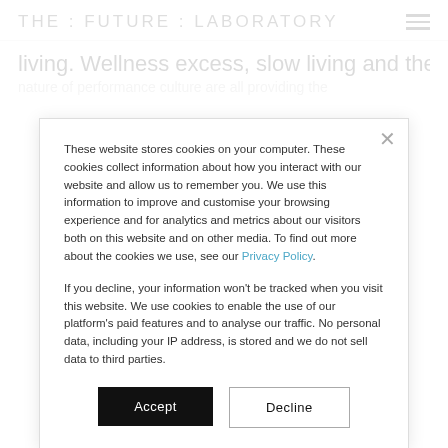THE : FUTURE : LABORATORY
living. Wellness excess, slow living and the overwhelming nature of performance culture are all providing the
These website stores cookies on your computer. These cookies collect information about how you interact with our website and allow us to remember you. We use this information to improve and customise your browsing experience and for analytics and metrics about our visitors both on this website and on other media. To find out more about the cookies we use, see our Privacy Policy.
If you decline, your information won't be tracked when you visit this website. We use cookies to enable the use of our platform's paid features and to analyse our traffic. No personal data, including your IP address, is stored and we do not sell data to third parties.
Accept
Decline